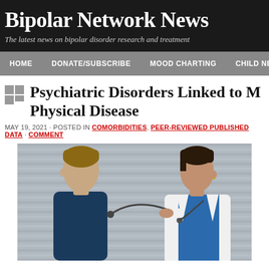Bipolar Network News
The latest news on bipolar disorder research and treatment
HOME   DONATE/SUBSCRIBE   MOOD CHARTING   CHILD NETW...
Psychiatric Disorders Linked to M Physical Disease
MAY 19, 2021 · POSTED IN COMORBIDITIES, PEER-REVIEWED PUBLISHED DATA · COMMENT
[Figure (photo): A young male patient in a navy shirt being examined with a stethoscope by a female doctor in a white coat with short dark hair, in front of a corrugated metal wall background.]